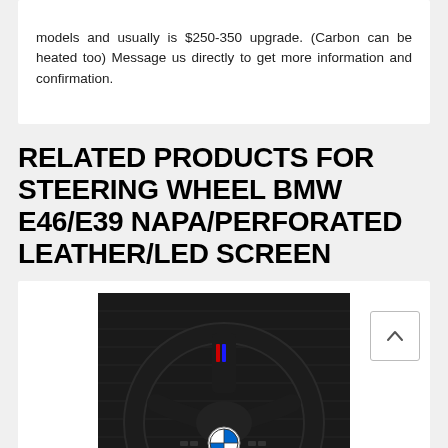models and usually is $250-350 upgrade. (Carbon can be heated too) Message us directly to get more information and confirmation.
RELATED PRODUCTS FOR STEERING WHEEL BMW E46/E39 NAPA/PERFORATED LEATHER/LED SCREEN
[Figure (photo): Photo of a BMW steering wheel (E46/E39) wrapped in dark perforated leather/NAPA with red and blue M stripe accents, BMW logo visible at the bottom center, displayed against a dark wooden background.]